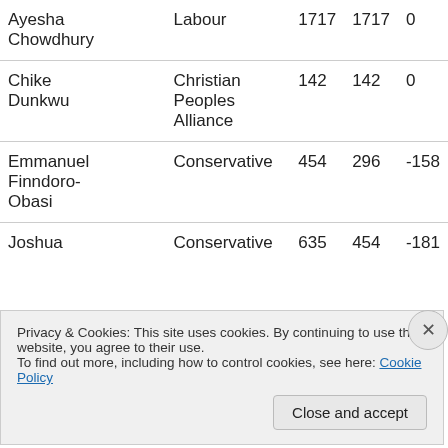| Name | Party | Col1 | Col2 | Change |
| --- | --- | --- | --- | --- |
| Ayesha Chowdhury | Labour | 1717 | 1717 | 0 |
| Chike Dunkwu | Christian Peoples Alliance | 142 | 142 | 0 |
| Emmanuel Finndoro-Obasi | Conservative | 454 | 296 | -158 |
| Joshua | Conservative | 635 | 454 | -181 |
Privacy & Cookies: This site uses cookies. By continuing to use this website, you agree to their use. To find out more, including how to control cookies, see here: Cookie Policy